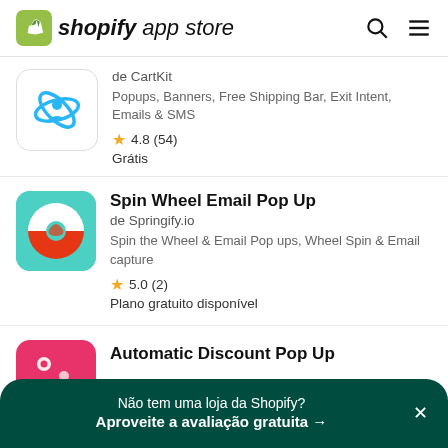shopify app store
[Figure (logo): CartKit app icon - blue person with orbit rings on white background]
de CartKit
Popups, Banners, Free Shipping Bar, Exit Intent, Emails & SMS
4.8 (54)
Grátis
[Figure (logo): Spin Wheel Email Pop Up app icon - red and teal spinning wheel on teal background]
Spin Wheel Email Pop Up
de Springify.io
Spin the Wheel & Email Pop ups, Wheel Spin & Email capture
5.0 (2)
Plano gratuito disponível
[Figure (logo): Automatic Discount Pop Up app icon - pink/red background with coupon icon]
Automatic Discount Pop Up
Coupon Code Pop Ops
Não tem uma loja da Shopify? Aproveite a avaliação gratuita →